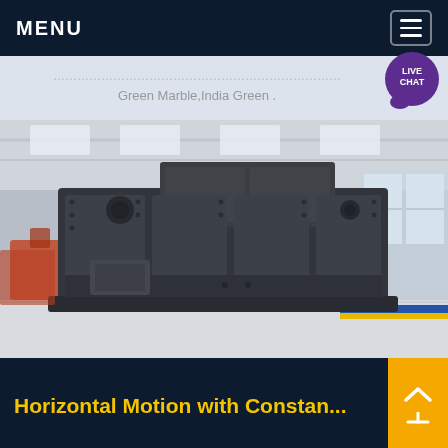MENU
Green Marble,India Green .
[Figure (photo): Large industrial horizontal motion machine/crusher on a factory floor inside a large warehouse facility. The machine is heavy grey metal construction with bolted panels and structural supports.]
Horizontal Motion with Constan...